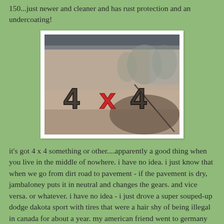150...just newer and cleaner and has rust protection and an undercoating!
[Figure (photo): Close-up photo of a truck door/hood showing a '4x4' badge/emblem, with the 'x' in red and the 4s in dark metallic color. Background shows a misty/foggy outdoor scene.]
it's got 4 x 4 something or other....apparently a good thing when you live in the middle of nowhere. i have no idea. i just know that when we go from dirt road to pavement - if the pavement is dry, jambaloney puts it in neutral and changes the gears. and vice versa. or whatever. i have no idea - i just drove a super souped-up dodge dakota sport with tires that were a hair shy of being illegal in canada for about a year. my american friend went to germany working with a big satellite company and didn't want to put his